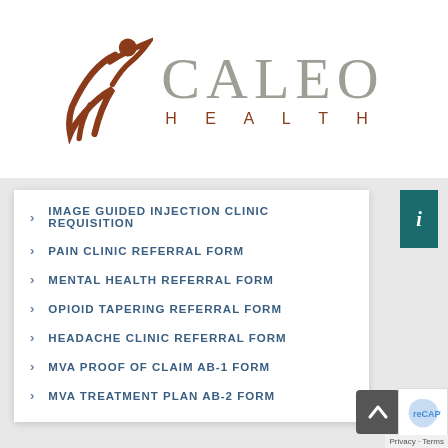[Figure (logo): Caleo Health logo with stylized orange/brown human figure icon and grey CALEO text with brown HEALTH subtitle]
IMAGE GUIDED INJECTION CLINIC REQUISITION
PAIN CLINIC REFERRAL FORM
MENTAL HEALTH REFERRAL FORM
OPIOID TAPERING REFERRAL FORM
HEADACHE CLINIC REFERRAL FORM
MVA PROOF OF CLAIM AB-1 FORM
MVA TREATMENT PLAN AB-2 FORM